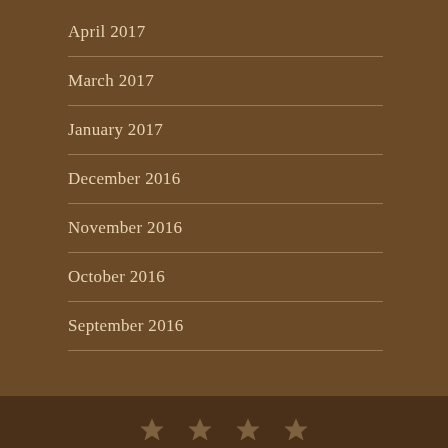April 2017
March 2017
January 2017
December 2016
November 2016
October 2016
September 2016
★ ★ ★ ★